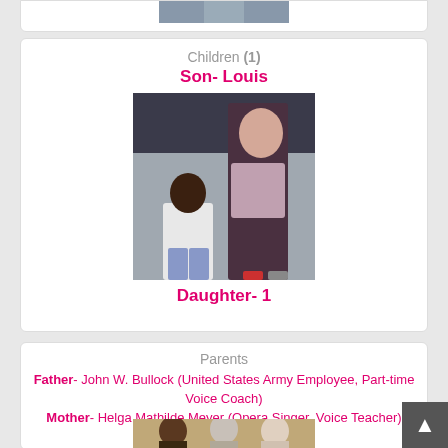[Figure (photo): Partial photo at top of page, cropped]
Children (1)
Son- Louis
[Figure (photo): Photo of woman and young child walking together]
Daughter- 1
Parents
Father- John W. Bullock (United States Army Employee, Part-time Voice Coach)
Mother- Helga Mathilde Meyer (Opera Singer, Voice Teacher)
[Figure (photo): Photo of three people, parents and another individual]